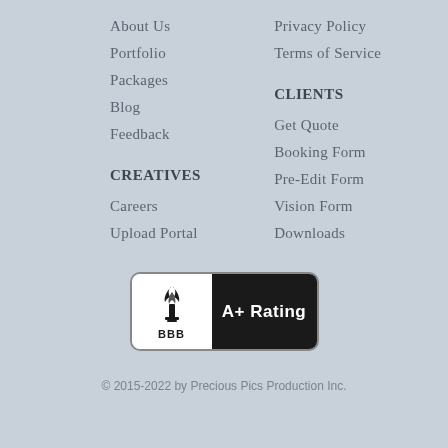About Us
Portfolio
Packages
Blog
Feedback
CREATIVES
Careers
Upload Portal
Privacy Policy
Terms of Service
CLIENTS
Get Quote
Booking Form
Pre-Edit Form
Vision Form
Downloads
[Figure (logo): BBB A+ Rating badge with torch flame logo on white background and 'A+ Rating' text on dark background]
© 2015-2022 by Precious Pics Production Inc.